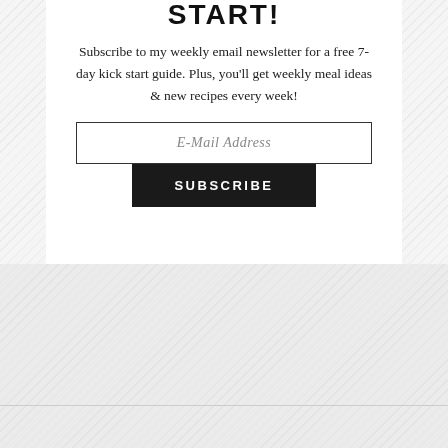START!
Subscribe to my weekly email newsletter for a free 7-day kick start guide. Plus, you'll get weekly meal ideas & new recipes every week!
E-Mail Address
SUBSCRIBE